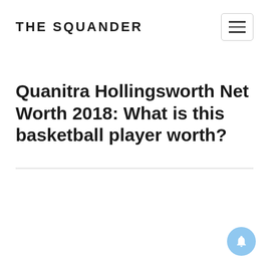THE SQUANDER
Quanitra Hollingsworth Net Worth 2018: What is this basketball player worth?